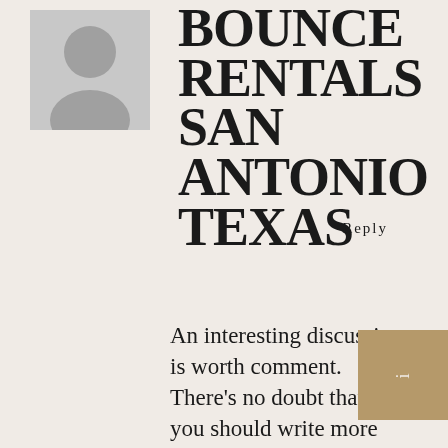[Figure (illustration): Generic grey avatar/person silhouette placeholder image]
BOUNCE RENTALS SAN ANTONIO TEXAS
Reply
An interesting discussion is worth comment. There’s no doubt that that you should write more about this subject, it might not be a taboo matter but usually people do not talk about